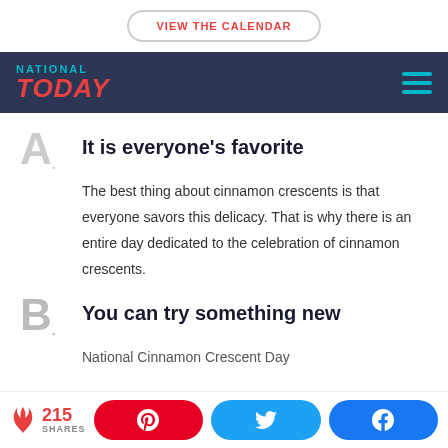VIEW THE CALENDAR
NATIONAL TODAY
It is everyone's favorite
The best thing about cinnamon crescents is that everyone savors this delicacy. That is why there is an entire day dedicated to the celebration of cinnamon crescents.
You can try something new
National Cinnamon Crescent Day
215 SHARES